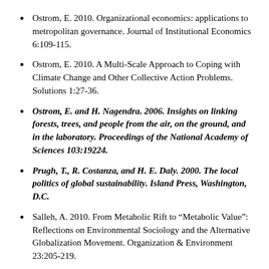Ostrom, E. 2010. Organizational economics: applications to metropolitan governance. Journal of Institutional Economics 6:109-115.
Ostrom, E. 2010. A Multi-Scale Approach to Coping with Climate Change and Other Collective Action Problems. Solutions 1:27-36.
Ostrom, E. and H. Nagendra. 2006. Insights on linking forests, trees, and people from the air, on the ground, and in the laboratory. Proceedings of the National Academy of Sciences 103:19224.
Prugh, T., R. Costanza, and H. E. Daly. 2000. The local politics of global sustainability. Island Press, Washington, D.C.
Salleh, A. 2010. From Metabolic Rift to “Metabolic Value”: Reflections on Environmental Sociology and the Alternative Globalization Movement. Organization & Environment 23:205-219.